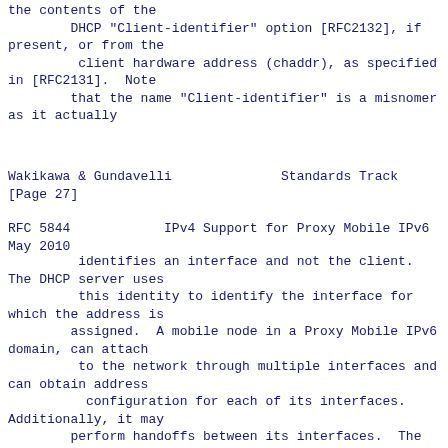the contents of the
        DHCP "Client-identifier" option [RFC2132], if present, or from the
         client hardware address (chaddr), as specified in [RFC2131].  Note
        that the name "Client-identifier" is a misnomer as it actually
Wakikawa & Gundavelli              Standards Track
[Page 27]
RFC 5844            IPv4 Support for Proxy Mobile IPv6
May 2010
identifies an interface and not the client. The DHCP server uses
          this identity to identify the interface for which the address is
         assigned.  A mobile node in a Proxy Mobile IPv6 domain, can attach
          to the network through multiple interfaces and can obtain address
           configuration for each of its interfaces. Additionally, it may
         perform handoffs between its interfaces.  The following are the
          related considerations with respect to the identification
         presented to the DHCP server.
          *   If the mobile node attaches to the Proxy Mobile IPv6 domain
              through multiple physical interfaces, the